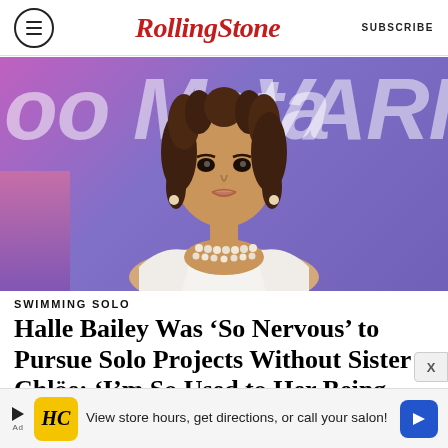RollingStone | SUBSCRIBE
[Figure (photo): Halle Bailey at a Variety event, wearing a white halter dress and pearl necklaces, in front of a purple Meta/Variety backdrop]
SWIMMING SOLO
Halle Bailey Was ‘So Nervous’ to Pursue Solo Projects Without Sister Chloë: ‘I’m So Used to Her Being There’
BY TOMÁS MIER
[Figure (other): Advertisement banner: HC logo, View store hours, get directions, or call your salon!]